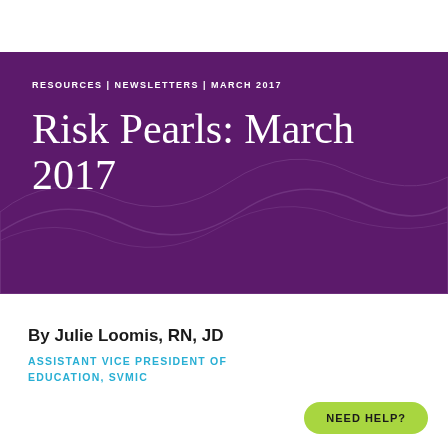RESOURCES | NEWSLETTERS | MARCH 2017
Risk Pearls: March 2017
By Julie Loomis, RN, JD
ASSISTANT VICE PRESIDENT OF EDUCATION, SVMIC